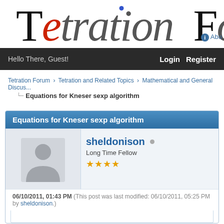Tetration For
Hello There, Guest! Login Register
Tetration Forum › Tetration and Related Topics › Mathematical and General Discus...
Equations for Kneser sexp algorithm
Equations for Kneser sexp algorithm
sheldonison
Long Time Fellow
★★★★
06/10/2011, 01:43 PM (This post was last modified: 06/10/2011, 05:25 PM by sheldonison.)